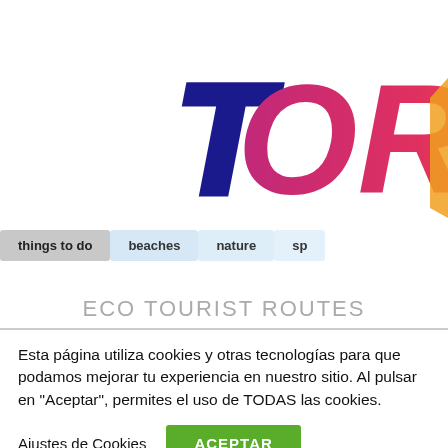[Figure (logo): TORRE logo in stylized hand-drawn lettering with gradient colors from dark blue to pink to orange, partially cropped on the right side]
[Figure (screenshot): Navigation bar with four tab buttons: 'things to do' (dark gray), 'beaches' (light blue), 'nature' (light blue), 'sp...' (light blue, partially cropped)]
ECO TOURIST ROUTES
Esta página utiliza cookies y otras tecnologías para que podamos mejorar tu experiencia en nuestro sitio. Al pulsar en "Aceptar", permites el uso de TODAS las cookies.
Ajustes de Cookies
ACEPTAR